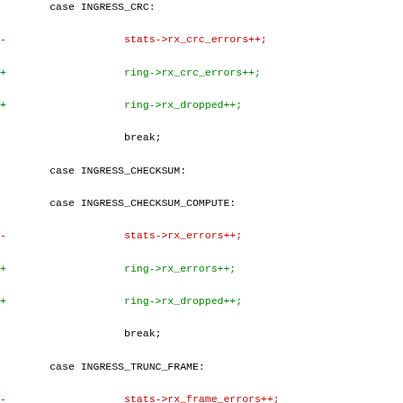Code diff showing switch-case replacements of stats->rx_* with ring->rx_* pointers across multiple INGRESS cases